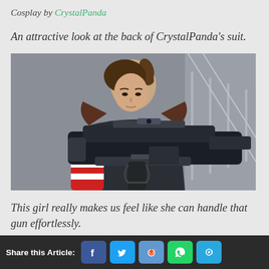Cosplay by CrystalPanda
An attractive look at the back of CrystalPanda's suit.
[Figure (photo): A woman in Mass Effect N7 cosplay armor, holding a large sci-fi gun prop, looking down at it. The costume features red and white arm gauntlets and dark armored chest piece.]
This girl really makes us feel like she can handle that gun effortlessly.
Share this Article: